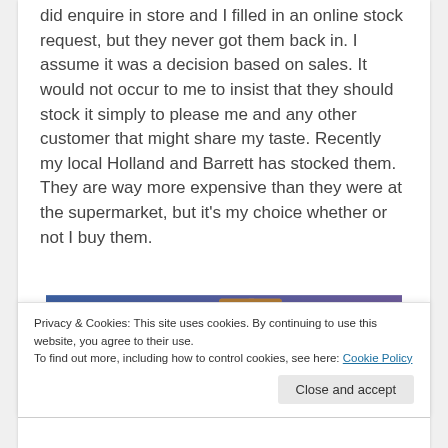did enquire in store and I filled in an online stock request, but they never got them back in. I assume it was a decision based on sales. It would not occur to me to insist that they should stock it simply to please me and any other customer that might share my taste. Recently my local Holland and Barrett has stocked them. They are way more expensive than they were at the supermarket, but it's my choice whether or not I buy them.
[Figure (photo): A blog image with a blue-to-purple gradient background and a brown package/box shape in the upper center, with a WordPress logo partially visible at the bottom left.]
Privacy & Cookies: This site uses cookies. By continuing to use this website, you agree to their use.
To find out more, including how to control cookies, see here: Cookie Policy
Close and accept